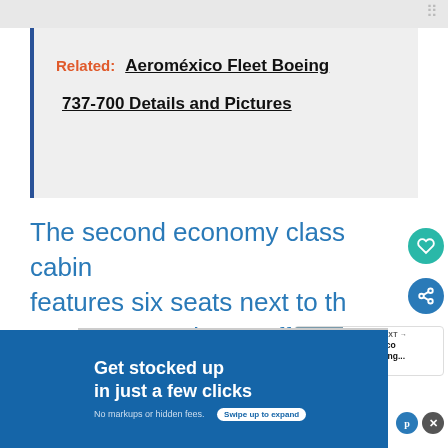Related: Aeroméxico Fleet Boeing 737-700 Details and Pictures
The second economy class cabin features six seats next to the emergency exit row offering a
[Figure (infographic): What's Next panel showing thumbnail of Aeroméxico Fleet Boeing article]
[Figure (infographic): Advertisement banner: Get stocked up in just a few clicks. No markups or hidden fees. Swipe up to expand.]